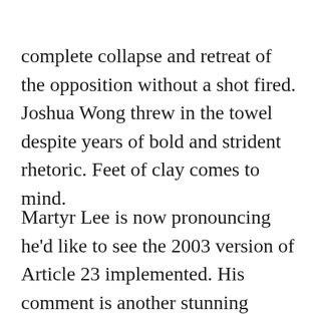complete collapse and retreat of the opposition without a shot fired. Joshua Wong threw in the towel despite years of bold and strident rhetoric. Feet of clay comes to mind.
Martyr Lee is now pronouncing he'd like to see the 2003 version of Article 23 implemented. His comment is another stunning reversal. Unfortunately, it is too late, Mr Lee! Had he and his cohort shown such rationality earlier, we could